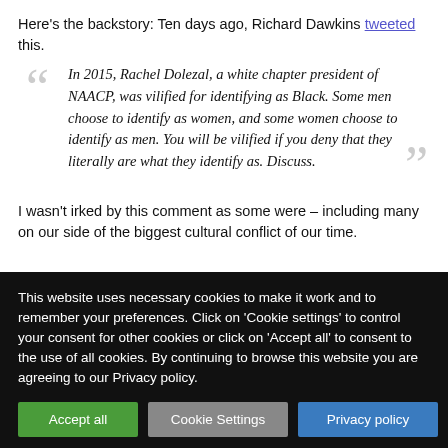Here's the backstory: Ten days ago, Richard Dawkins tweeted this.
In 2015, Rachel Dolezal, a white chapter president of NAACP, was vilified for identifying as Black. Some men choose to identify as women, and some women choose to identify as men. You will be vilified if you deny that they literally are what they identify as. Discuss.
I wasn't irked by this comment as some were – including many on our side of the biggest cultural conflict of our time.
This website uses necessary cookies to make it work and to remember your preferences. Click on 'Cookie settings' to control your consent for other cookies or click on 'Accept all' to consent to the use of all cookies. By continuing to browse this website you are agreeing to our Privacy policy.